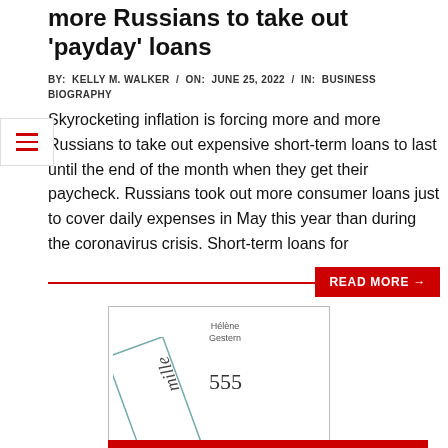more Russians to take out 'payday' loans
BY:  KELLY M. WALKER  /  ON:  JUNE 25, 2022  /  IN:  BUSINESS BIOGRAPHY
Skyrocketing inflation is forcing more and more Russians to take out expensive short-term loans to last until the end of the month when they get their paycheck. Russians took out more consumer loans just to cover daily expenses in May this year than during the coronavirus crisis. Short-term loans for
READ MORE →
[Figure (illustration): Book cover image showing a tilted book spine with cursive text 'mille', author name 'Hélène Gestern', and page number '555'. A red bar appears at the bottom of the image.]